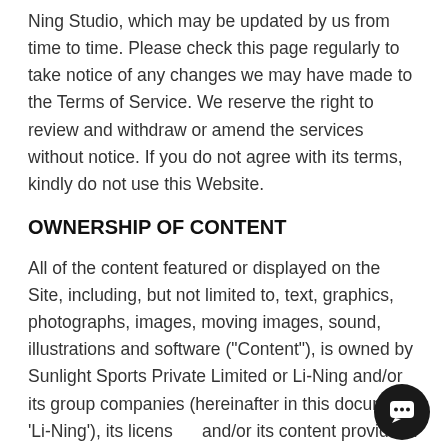Ning Studio, which may be updated by us from time to time. Please check this page regularly to take notice of any changes we may have made to the Terms of Service. We reserve the right to review and withdraw or amend the services without notice. If you do not agree with its terms, kindly do not use this Website.
OWNERSHIP OF CONTENT
All of the content featured or displayed on the Site, including, but not limited to, text, graphics, photographs, images, moving images, sound, illustrations and software ("Content"), is owned by Sunlight Sports Private Limited or Li-Ning and/or its group companies (hereinafter in this document 'Li-Ning'), its licensors and/or its content providers. All elements of the S...